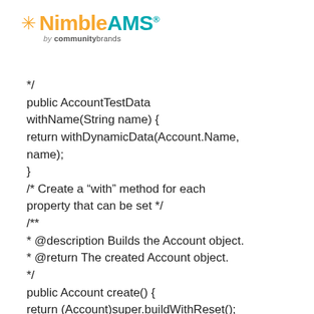[Figure (logo): NimbleAMS by communitybrands logo with orange asterisk and teal/orange text]
*/
public AccountTestData withName(String name) {
return withDynamicData(Account.Name, name);
}
/* Create a “with” method for each property that can be set */
/**
* @description Builds the Account object.
* @return The created Account object.
*/
public Account create() {
return (Account)super.buildWithReset();